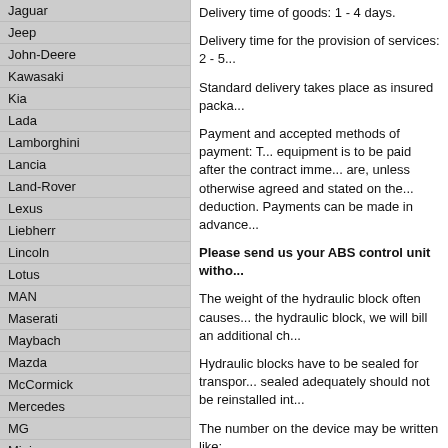Jaguar
Jeep
John-Deere
Kawasaki
Kia
Lada
Lamborghini
Lancia
Land-Rover
Lexus
Liebherr
Lincoln
Lotus
MAN
Maserati
Maybach
Mazda
McCormick
Mercedes
MG
Mini
Mitsubishi
Münch
Neoplan
Nissan
NSU
Opel
Peugeot
Pontiac
Porsche
Proton
Renault
Delivery time of goods: 1 - 4 days.
Delivery time for the provision of services: 2 - 5...
Standard delivery takes place as insured packa...
Payment and accepted methods of payment: T... equipment is to be paid after the contract imme... are, unless otherwise agreed and stated on the... deduction. Payments can be made in advance...
Please send us your ABS control unit witho...
The weight of the hydraulic block often causes... the hydraulic block, we will bill an additional ch...
Hydraulic blocks have to be sealed for transpor... sealed adequately should not be reinstalled int...
The number on the device may be written like:
0 265 220 408, 0-265-220-408, 0265-220-408